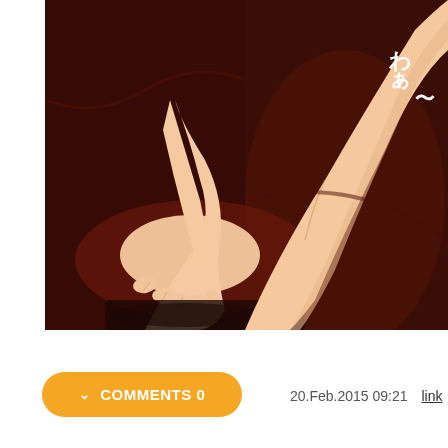[Figure (illustration): Anime-style illustration showing legs and feet of a figure seated on a dark background. Japanese text characters visible in upper right corner. Warm skin tones against dark brown/maroon background.]
COMMENTS 0
20.Feb.2015 09:21  link